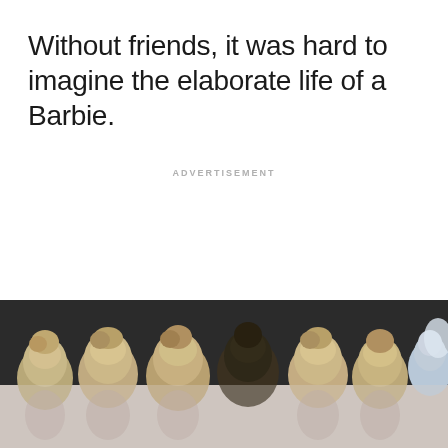Without friends, it was hard to imagine the elaborate life of a Barbie.
ADVERTISEMENT
[Figure (photo): Photograph showing the tops of multiple Barbie doll heads with blonde and dark hair against a dark background, with a lighter faded section at the bottom showing partial doll bodies.]